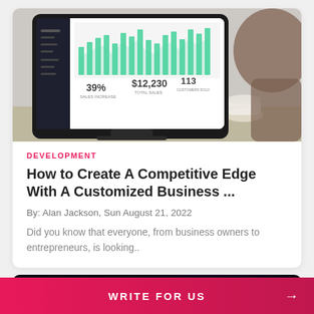[Figure (photo): Person sitting at a desk looking at a computer monitor displaying a business analytics dashboard with bar charts and metrics including 39%, $12,230, and 113. A coffee cup is visible in the background.]
DEVELOPMENT
How to Create A Competitive Edge With A Customized Business ...
By: Alan Jackson, Sun August 21, 2022
Did you know that everyone, from business owners to entrepreneurs, is looking..
[Figure (photo): Dark tech workspace with laptop and pink/purple lighting, partially visible.]
WRITE FOR US →